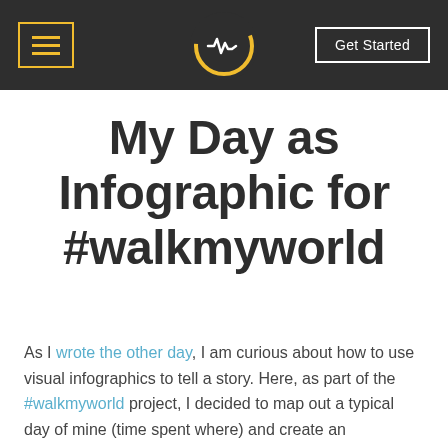≡  [logo]  Get Started
My Day as Infographic for #walkmyworld
As I wrote the other day, I am curious about how to use visual infographics to tell a story. Here, as part of the #walkmyworld project, I decided to map out a typical day of mine (time spent where) and create an infographic of my day. I used an app on my iPad for the creation of it and rounded up and down a bit on the